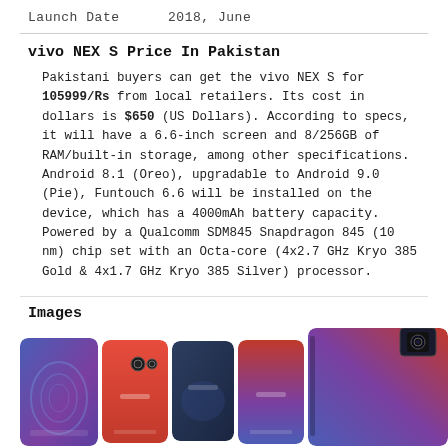Launch Date    2018, June
vivo NEX S Price In Pakistan
Pakistani buyers can get the vivo NEX S for 105999/Rs from local retailers. Its cost in dollars is $650 (US Dollars). According to specs, it will have a 6.6-inch screen and 8/256GB of RAM/built-in storage, among other specifications. Android 8.1 (Oreo), upgradable to Android 9.0 (Pie), Funtouch 6.6 will be installed on the device, which has a 4000mAh battery capacity. Powered by a Qualcomm SDM845 Snapdragon 845 (10 nm) chip set with an Octa-core (4x2.7 GHz Kryo 385 Gold & 4x1.7 GHz Kryo 385 Silver) processor.
Images
[Figure (photo): Multiple vivo NEX S smartphones shown from rear, in blue, red, dark blue/grey, and red/blue gradient colors, plus one larger image showing the pop-up camera mechanism.]
Unboxing & Hnads-On Videos